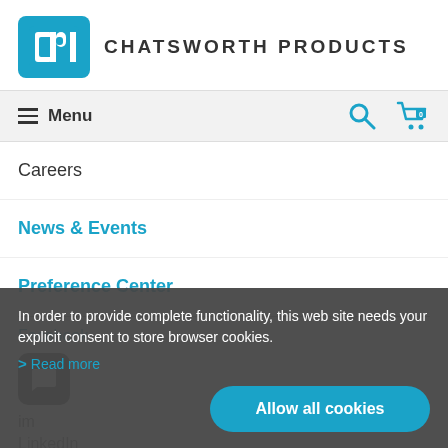[Figure (logo): Chatsworth Products (CPI) logo with blue rounded square icon and company name in uppercase bold text]
Menu
Careers
News & Events
Preference Center
In order to provide complete functionality, this web site needs your explicit consent to store browser cookies.
Read more
Allow all cookies